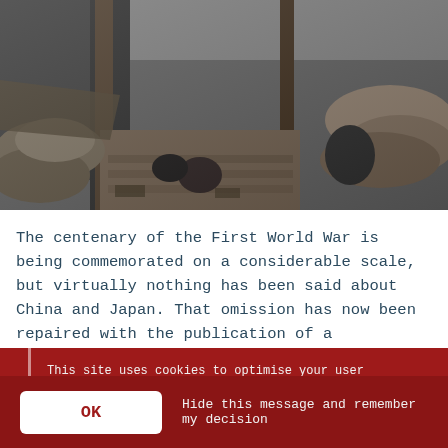[Figure (photo): Black and white historical photograph of World War I trench warfare scene, showing soldiers in narrow dirt trenches with wooden supports and sandbags]
The centenary of the First World War is being commemorated on a considerable scale, but virtually nothing has been said about China and Japan. That omission has now been repaired with the publication of a
This site uses cookies to optimise your user experience.
Only essential cookies are set. To find out more, including how to opt out, please visit the Cookies page.
OK   Hide this message and remember my decision